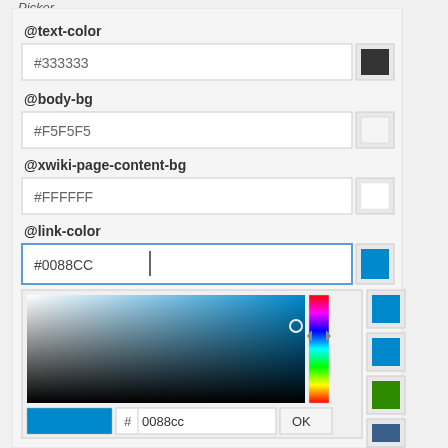Picker
@text-color
#333333
@body-bg
#F5F5F5
@xwiki-page-content-bg
#FFFFFF
@link-color
#0088CC
[Figure (screenshot): Color picker popup showing a gradient saturation/brightness square with cyan-blue selected, a hue slider on the right, color preview swatch, hex input showing 0088cc, and OK button. Side swatches show various colors: blue, blue, green, dark blue.]